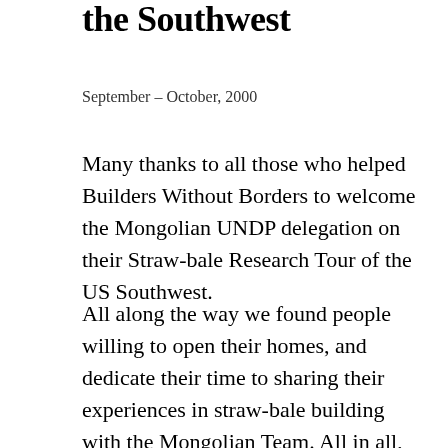the Southwest
September – October, 2000
Many thanks to all those who helped Builders Without Borders to welcome the Mongolian UNDP delegation on their Straw-bale Research Tour of the US Southwest.
All along the way we found people willing to open their homes, and dedicate their time to sharing their experiences in straw-bale building with the Mongolian Team. All in all, the team toured 37 sites in 4 states including Colorado, New Mexico, Nebraska, and South Dakota, including attendance at the Second Nebraska Straw-bale Conference. Throughout